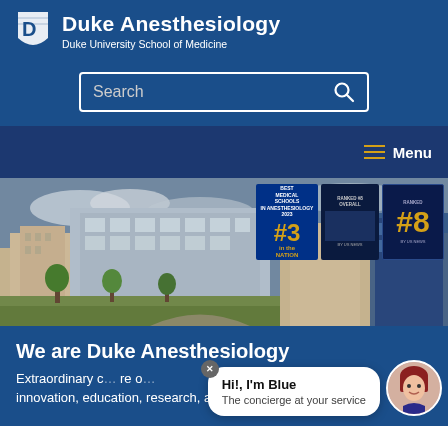Duke Anesthesiology — Duke University School of Medicine
[Figure (screenshot): Duke Anesthesiology website header with search bar, navigation menu, hero photo of Duke medical campus buildings, ranking badges (#3 in the nation for anesthesiology, #8), section heading 'We are Duke Anesthesiology', introductory text about extraordinary care, innovation, education, research, and professional development, and a chatbot popup labeled 'Hi!, I'm Blue - The concierge at your service']